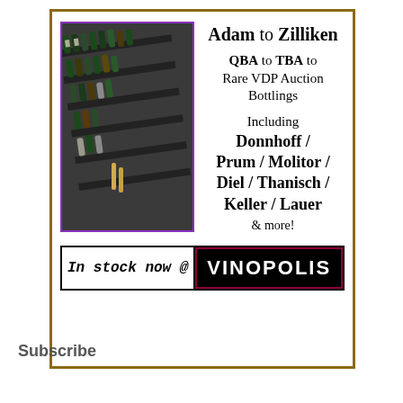[Figure (photo): Photo of wine bottles arranged in rows on shelves/tables in a wine store]
Adam to Zilliken
QBA to TBA to Rare VDP Auction Bottlings
Including Donnhoff / Prum / Molitor / Diel / Thanisch / Keller / Lauer & more!
In stock now @ VINOPOLIS
Subscribe